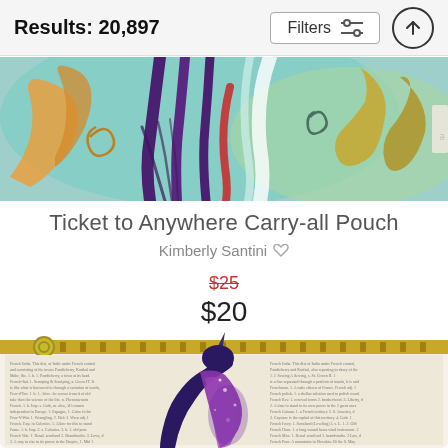Results: 20,897
Filters
[Figure (photo): Colorful abstract painting detail showing horses or figures in teal, purple, orange and green tones, partially visible as a cropped strip]
Ticket to Anywhere Carry-all Pouch
Kimberly Santini
$25
$20
[Figure (photo): A carry-all zippered pouch with a gold zipper, showing a cosmic/galaxy unicorn silhouette printed on a vintage dictionary page background]